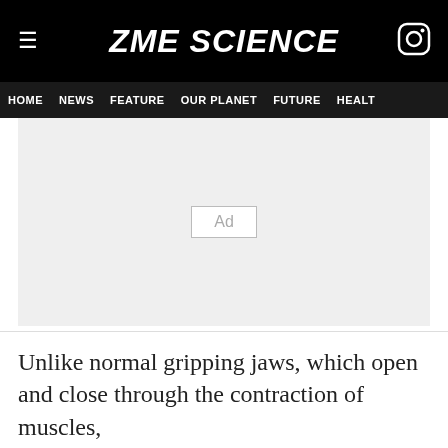ZME SCIENCE
HOME   NEWS   FEATURE   OUR PLANET   FUTURE   HEALT
[Figure (other): Advertisement placeholder box with 'Ad' label on light gray background]
Unlike normal gripping jaws, which open and close through the contraction of muscles,